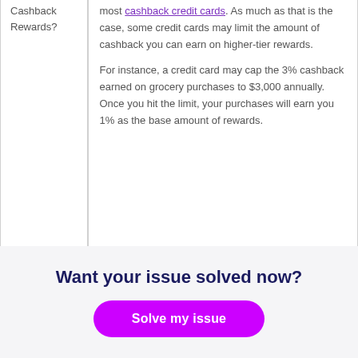Cashback Rewards?
most cashback credit cards. As much as that is the case, some credit cards may limit the amount of cashback you can earn on higher-tier rewards.

For instance, a credit card may cap the 3% cashback earned on grocery purchases to $3,000 annually. Once you hit the limit, your purchases will earn you 1% as the base amount of rewards.
Want your issue solved now?
Solve my issue